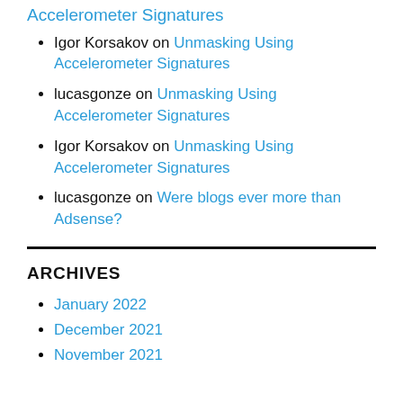Igor Korsakov on Unmasking Using Accelerometer Signatures
lucasgonze on Unmasking Using Accelerometer Signatures
Igor Korsakov on Unmasking Using Accelerometer Signatures
lucasgonze on Were blogs ever more than Adsense?
ARCHIVES
January 2022
December 2021
November 2021